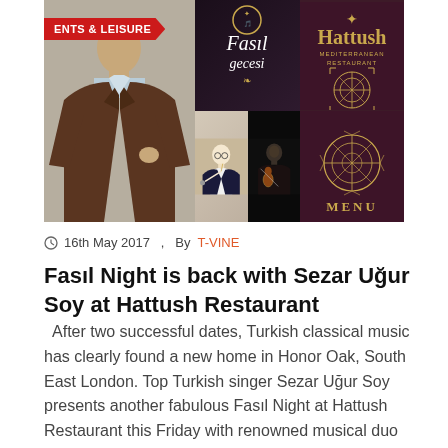[Figure (photo): Collage image featuring a Turkish man in a suit on the left, a Fasil Gecesi text panel, a photo of a conductor, the Hattush Mediterranean Restaurant logo, a violin player, and a menu page. Red banner reading 'ENTS & LEISURE' overlays top-left.]
16th May 2017  ,  By  T-VINE
Fasıl Night is back with Sezar Uğur Soy at Hattush Restaurant
After two successful dates, Turkish classical music has clearly found a new home in Honor Oak, South East London. Top Turkish singer Sezar Uğur Soy presents another fabulous Fasıl Night at Hattush Restaurant this Friday with renowned musical duo Hüseyin Cemgünal (keyboards) and Ercüment İbrahim (violin). The Turkish